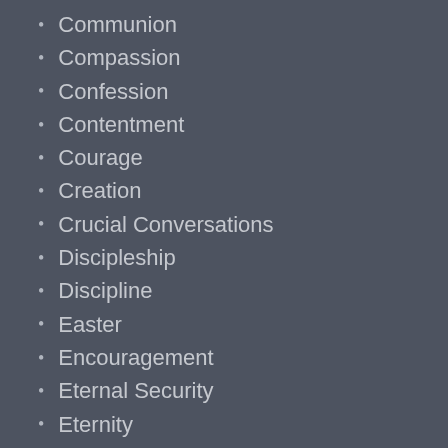Communion
Compassion
Confession
Contentment
Courage
Creation
Crucial Conversations
Discipleship
Discipline
Easter
Encouragement
Eternal Security
Eternity
Evangelism
Extra! Extra!
Failure